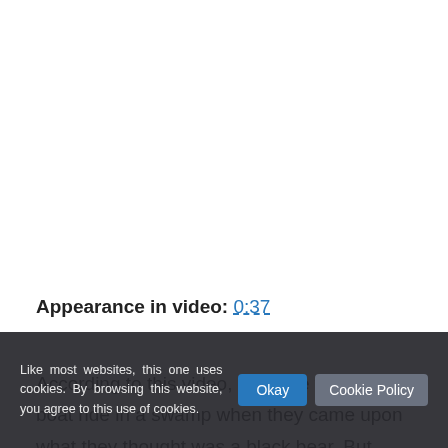Appearance in video: 0:37
According to this video, a couple was on a boat ride in a swamp when they came upon what they thought was a black bear. But they began to
Like most websites, this one uses cookies. By browsing this website, you agree to this use of cookies.